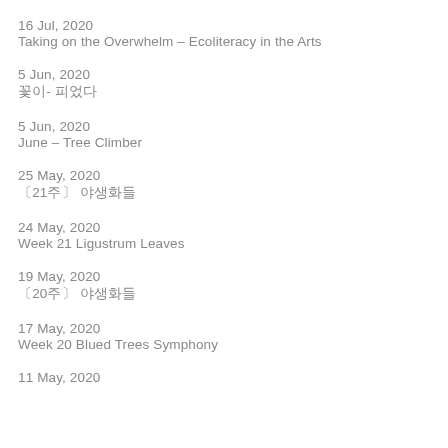16 Jul, 2020
Taking on the Overwhelm – Ecoliteracy in the Arts
5 Jun, 2020
꽃이- 피었다
5 Jun, 2020
June – Tree Climber
25 May, 2020
〔21주 야생화들
24 May, 2020
Week 21 Ligustrum Leaves
19 May, 2020
〔20주〕 야생화들
17 May, 2020
Week 20 Blued Trees Symphony
11 May, 2020